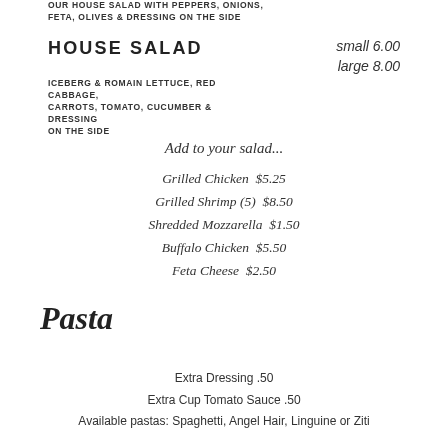OUR HOUSE SALAD WITH PEPPERS, ONIONS, FETA, OLIVES & DRESSING ON THE SIDE
HOUSE SALAD
small 6.00
large 8.00
ICEBERG & ROMAIN LETTUCE, RED CABBAGE, CARROTS, TOMATO, CUCUMBER & DRESSING ON THE SIDE
Add to your salad...
Grilled Chicken  $5.25
Grilled Shrimp (5)  $8.50
Shredded Mozzarella  $1.50
Buffalo Chicken  $5.50
Feta Cheese  $2.50
Pasta
Extra Dressing .50
Extra Cup Tomato Sauce .50
Available pastas: Spaghetti, Angel Hair, Linguine or Ziti